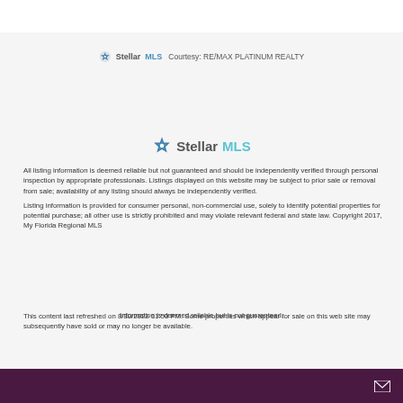[Figure (logo): Stellar MLS logo - small, with courtesy text: RE/MAX PLATINUM REALTY]
Courtesy: RE/MAX PLATINUM REALTY
[Figure (logo): Stellar MLS logo - large centered]
All listing information is deemed reliable but not guaranteed and should be independently verified through personal inspection by appropriate professionals. Listings displayed on this website may be subject to prior sale or removal from sale; availability of any listing should always be independently verified.
Listing information is provided for consumer personal, non-commercial use, solely to identify potential properties for potential purchase; all other use is strictly prohibited and may violate relevant federal and state law. Copyright 2017, My Florida Regional MLS
This content last refreshed on 8/30/2022 11:50 PM. Some properties which appear for sale on this web site may subsequently have sold or may no longer be available.
Information is deemed reliable but is not guaranteed.